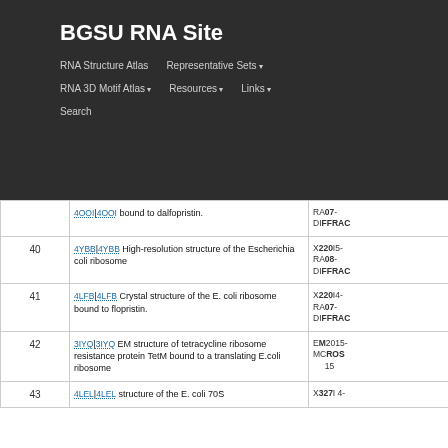BGSU RNA Site
RNA Structure Atlas | Representative Sets | RNA 3D Motif Atlas | Resources | Links | Search
| # | Description | Date/Method |
| --- | --- | --- |
|  | 4OOI|4OOI found to dalfopristin. | RA07-DIFFRAC |
| 40 | 4YBB|4YBBHigh-resolution structure of the Escherichia coli ribosome | X220015-RA08-DIFFRAC |
| 41 | 4LFB|4LFBCrystal structure of the E. coli ribosome bound to flopristin. | X220I4-RA07-DIFFRAC |
| 42 | 3IYQ|3IYQEM structure of tetracycline ribosome resistance protein TetM bound to a translating E.coli ribosome | EM2015-MCROS 15 |
| 43 | 4LELELstructure of the E. coli 70S | X3271 4- |